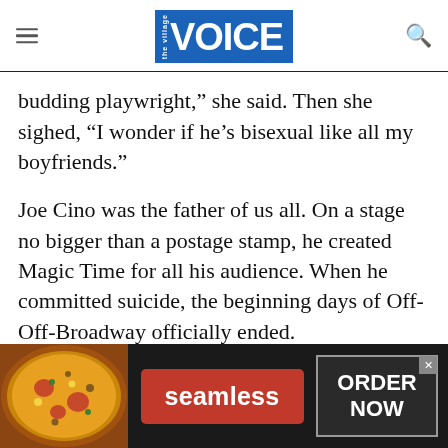the Village VOICE
budding playwright,” she said. Then she sighed, “I wonder if he’s bisexual like all my boyfriends.”
Joe Cino was the father of us all. On a stage no bigger than a postage stamp, he created Magic Time for all his audience. When he committed suicide, the beginning days of Off-Off-Broadway officially ended.
ISRAEL HOROVITZ: The night before Line was set
[Figure (advertisement): Seamless food delivery advertisement banner with pizza image on the left, red Seamless button in center, and ORDER NOW button on the right]